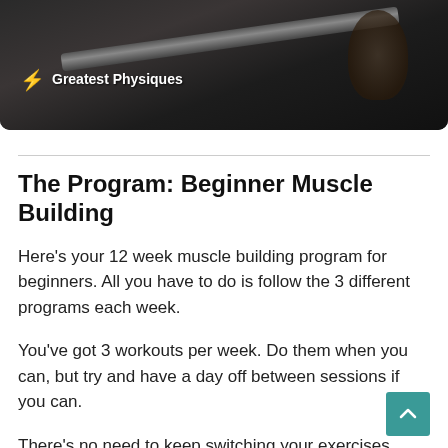[Figure (photo): Dark photo of a person lifting a barbell in a gym, with Greatest Physiques logo overlay in the bottom-left corner of the image.]
The Program: Beginner Muscle Building
Here's your 12 week muscle building program for beginners. All you have to do is follow the 3 different programs each week.
You've got 3 workouts per week. Do them when you can, but try and have a day off between sessions if you can.
There's no need to keep switching your exercises